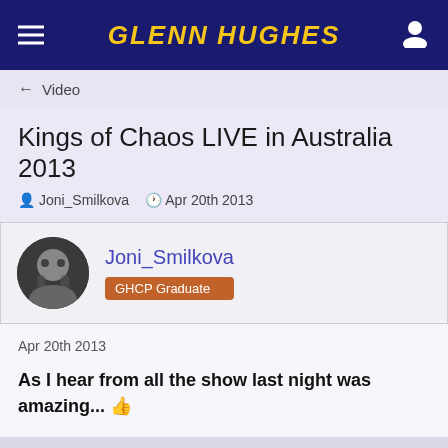GLENN HUGHES
← Video
Kings of Chaos LIVE in Australia 2013
Joni_Smilkova  Apr 20th 2013
Joni_Smilkova
GHCP Graduate
Apr 20th 2013
As I hear from all the show last night was amazing... 👍
The Glenn Hughes Fan Forum uses cookies. By continuing to browse this site, you are agreeing to our use of cookies.
More Details  Close